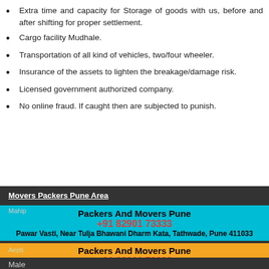Extra time and capacity for Storage of goods with us, before and after shifting for proper settlement.
Cargo facility Mudhale.
Transportation of all kind of vehicles, two/four wheeler.
Insurance of the assets to lighten the breakage/damage risk.
Licensed government authorized company.
No online fraud. If caught then are subjected to punish.
Movers Packers Pune Area
Packers And Movers Pune
+91 82901 73333
Pawar Vasti, Near Tulja Bhawani Dharm Kata, Tathwade, Pune 411033
Packers And Movers Pune
+91 82901 73333
Jawalkar Nagar Pimple Gurav, Near By Kalapatru Socitey
Male